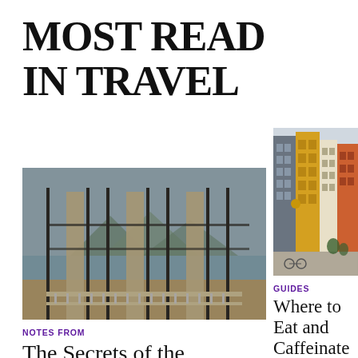MOST READ IN TRAVEL
[Figure (photo): Interior view through tall glass and iron-framed doors looking out to a lake and mountains, with classical stone columns and a balustrade.]
NOTES FROM
The Secrets of the
[Figure (photo): Colourful European street with tall narrow buildings in grey, yellow, cream and orange facades, with bicycles parked along the cobblestone street.]
GUIDES
Where to Eat and Caffeinate Copenhagen